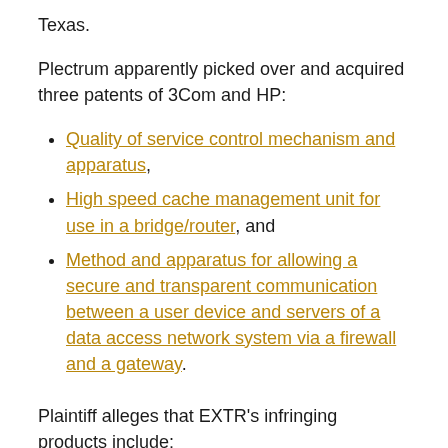Texas.
Plectrum apparently picked over and acquired three patents of 3Com and HP:
Quality of service control mechanism and apparatus,
High speed cache management unit for use in a bridge/router, and
Method and apparatus for allowing a secure and transparent communication between a user device and servers of a data access network system via a firewall and a gateway.
Plaintiff alleges that EXTR's infringing products include:
network switches and/or routers that utilize